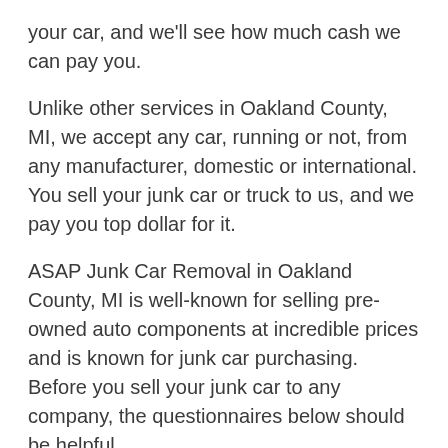your car, and we'll see how much cash we can pay you.
Unlike other services in Oakland County, MI, we accept any car, running or not, from any manufacturer, domestic or international. You sell your junk car or truck to us, and we pay you top dollar for it.
ASAP Junk Car Removal in Oakland County, MI is well-known for selling pre-owned auto components at incredible prices and is known for junk car purchasing. Before you sell your junk car to any company, the questionnaires below should be helpful.
1) What Criteria Will The Company Use To